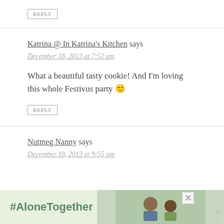REPLY
Katrina @ In Katrina's Kitchen says
December 18, 2013 at 7:52 am
What a beautiful tasty cookie! And I'm loving this whole Festivus party 🙂
REPLY
Nutmeg Nanny says
December 18, 2013 at 9:55 am
[Figure (photo): Advertisement banner with #AloneTogether text and photo of family]